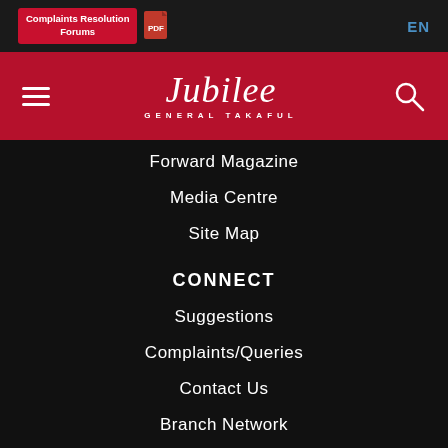Complaints Resolution Forums | PDF | EN
[Figure (logo): Jubilee General Takaful logo on red background with hamburger menu and search icon]
Forward Magazine
Media Centre
Site Map
CONNECT
Suggestions
Complaints/Queries
Contact Us
Branch Network
JOIN US
Careers